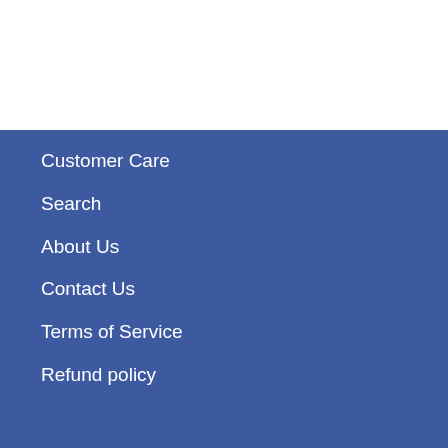Customer Care
Search
About Us
Contact Us
Terms of Service
Refund policy